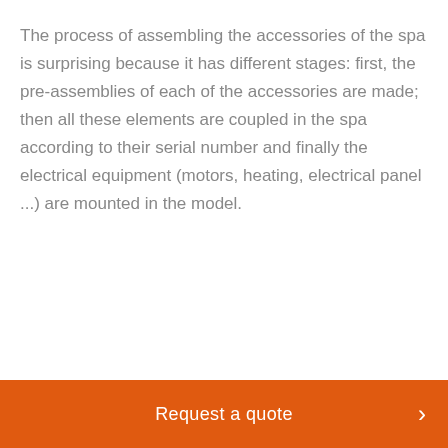The process of assembling the accessories of the spa is surprising because it has different stages: first, the pre-assemblies of each of the accessories are made; then all these elements are coupled in the spa according to their serial number and finally the electrical equipment (motors, heating, electrical panel ...) are mounted in the model.
Request a quote >